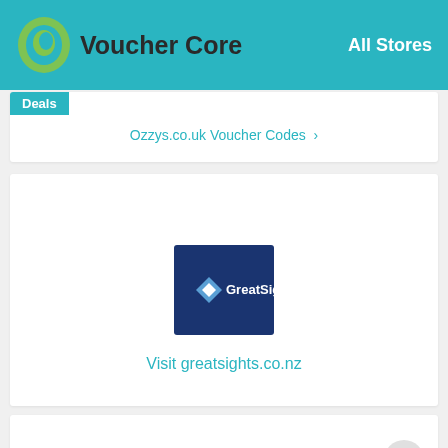Voucher Core — All Stores
Deals
Ozzys.co.uk Voucher Codes >
[Figure (logo): GreatSights logo — white diamond/arrow icon with 'GreatSights' text on a dark navy blue square background]
Visit greatsights.co.nz
★★★★★ Rate
4.5 / 768 Votes